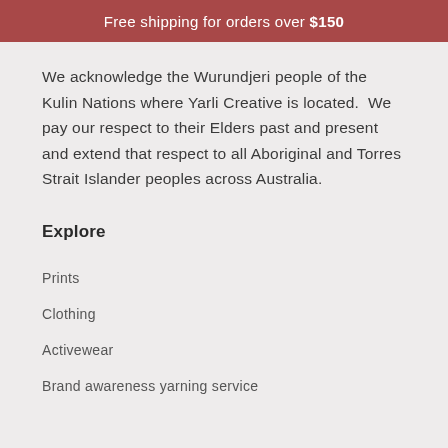Free shipping for orders over $150
We acknowledge the Wurundjeri people of the Kulin Nations where Yarli Creative is located.  We pay our respect to their Elders past and present and extend that respect to all Aboriginal and Torres Strait Islander peoples across Australia.
Explore
Prints
Clothing
Activewear
Brand awareness yarning service